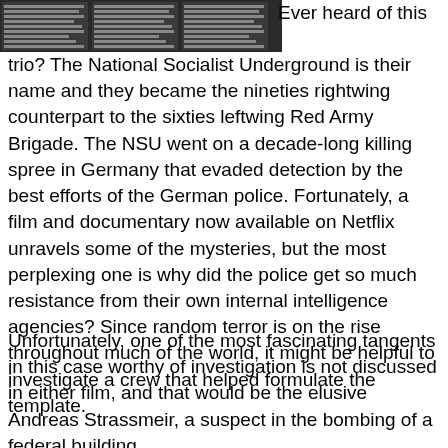[Figure (photo): A cropped newspaper or document image showing German text in columns, appearing to be a news article or official document excerpt with multiple columns of small print.]
Ever heard of this trio? The National Socialist Underground is their name and they became the nineties rightwing counterpart to the sixties leftwing Red Army Brigade. The NSU went on a decade-long killing spree in Germany that evaded detection by the best efforts of the German police. Fortunately, a film and documentary now available on Netflix unravels some of the mysteries, but the most perplexing one is why did the police get so much resistance from their own internal intelligence agencies? Since random terror is on the rise throughout much of the world, it might be helpful to investigate a crew that helped formulate the template.
Unfortunately, one of the most fascinating tangents in this case worthy of investigation is not discussed in either film, and that would be the elusive Andreas Strassmeir, a suspect in the bombing of a federal building